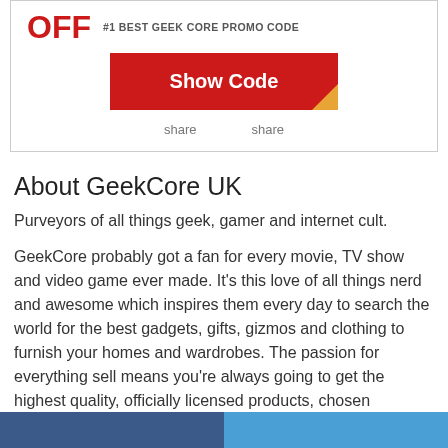[Figure (other): Promotional coupon card with OFF text in red, '#1 BEST GEEK CORE PROMO CODE' label, a red 'Show Code' button with a gold corner fold, and two 'share' links below]
About GeekCore UK
Purveyors of all things geek, gamer and internet cult.
GeekCore probably got a fan for every movie, TV show and video game ever made. It's this love of all things nerd and awesome which inspires them every day to search the world for the best gadgets, gifts, gizmos and clothing to furnish your homes and wardrobes. The passion for everything sell means you're always going to get the highest quality, officially licensed products, chosen specifically for you.
Blue footer bar